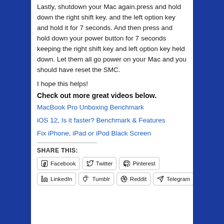Lastly, shutdown your Mac again.press and hold down the right shift key. and the left option key and hold it for 7 seconds. And then press and hold down your power button for 7 seconds keeping the right shift key and left option key held down. Let them all go power on your Mac and you should have reset the SMC.
I hope this helps!
Check out more great videos below.
MacBook Pro Unboxing Benchmark
iOS 12, Is it faster? Benchmark & Features
Fix iPhone, iPad or iPod Black Screen
SHARE THIS:
Facebook  Twitter  Pinterest
LinkedIn  Tumblr  Reddit  Telegram